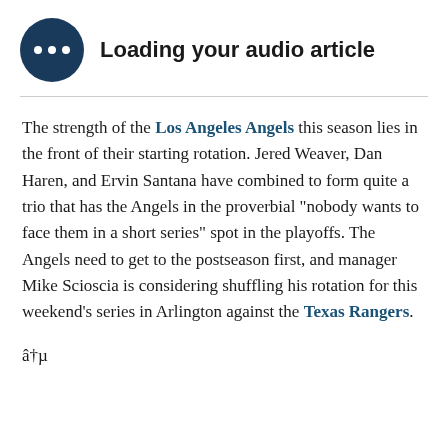Loading your audio article
The strength of the Los Angeles Angels this season lies in the front of their starting rotation. Jered Weaver, Dan Haren, and Ervin Santana have combined to form quite a trio that has the Angels in the proverbial "nobody wants to face them in a short series" spot in the playoffs. The Angels need to get to the postseason first, and manager Mike Scioscia is considering shuffling his rotation for this weekend's series in Arlington against the Texas Rangers.
â†µ